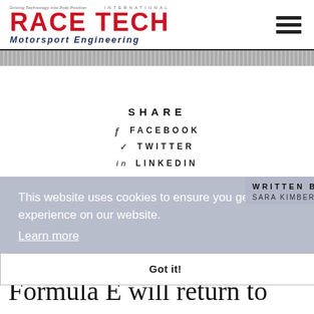[Figure (logo): Race Tech International Motorsport Engineering logo with red bold text and dark blue subtitle]
SHARE
FACEBOOK
TWITTER
LINKEDIN
WRITTEN BY
SARA KIMBERLEY
This website uses cookies to ensure you get the best experience on our website. Learn more
Got it!
Formula E will return to